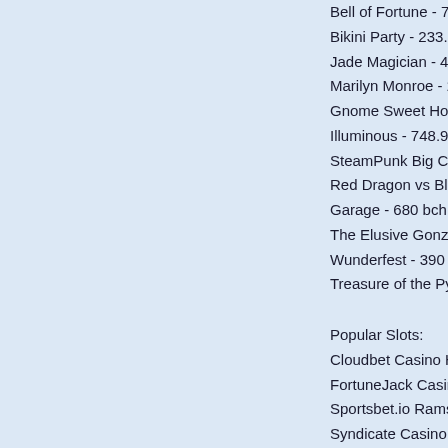Bell of Fortune - 780...
Bikini Party - 233.2 e...
Jade Magician - 476....
Marilyn Monroe - 292...
Gnome Sweet Home...
Illuminous - 748.9 btc...
SteamPunk Big City...
Red Dragon vs Blue...
Garage - 680 bch
The Elusive Gonzale...
Wunderfest - 390 btc...
Treasure of the Pyra...
Popular Slots:
Cloudbet Casino Hal...
FortuneJack Casino...
Sportsbet.io Ramses...
Syndicate Casino Fo...
https://www.makebu...
https://www.hibiscust...